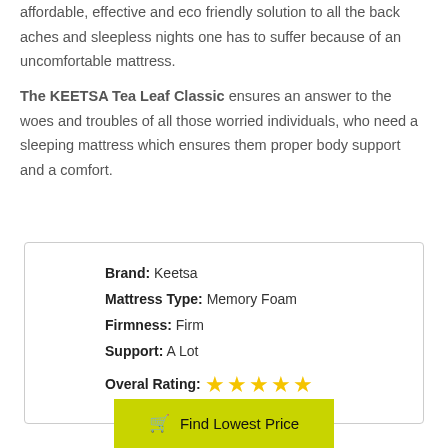affordable, effective and eco friendly solution to all the back aches and sleepless nights one has to suffer because of an uncomfortable mattress.
The KEETSA Tea Leaf Classic ensures an answer to the woes and troubles of all those worried individuals, who need a sleeping mattress which ensures them proper body support and a comfort.
| Property | Value |
| --- | --- |
| Brand: | Keetsa |
| Mattress Type: | Memory Foam |
| Firmness: | Firm |
| Support: | A Lot |
| Overal Rating: | ★★★★★ |
Find Lowest Price